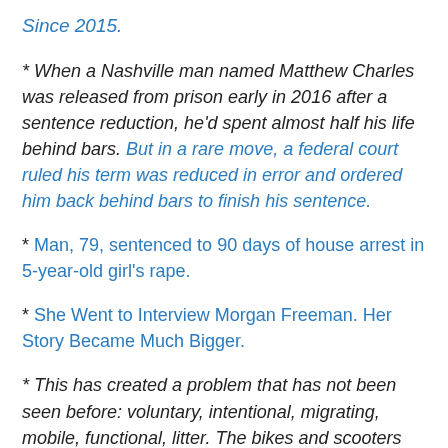Since 2015.
* When a Nashville man named Matthew Charles was released from prison early in 2016 after a sentence reduction, he'd spent almost half his life behind bars. But in a rare move, a federal court ruled his term was reduced in error and ordered him back behind bars to finish his sentence.
* Man, 79, sentenced to 90 days of house arrest in 5-year-old girl's rape.
* She Went to Interview Morgan Freeman. Her Story Became Much Bigger.
* This has created a problem that has not been seen before: voluntary, intentional, migrating, mobile, functional, litter. The bikes and scooters are disruptive to the